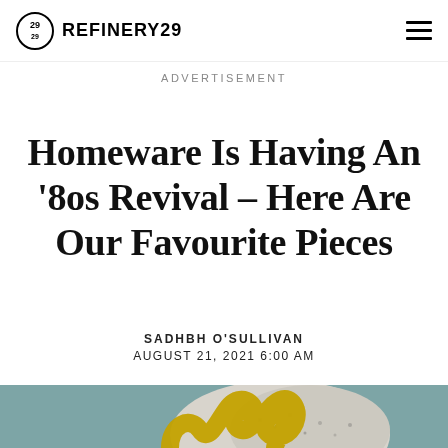REFINERY29
ADVERTISEMENT
Homeware Is Having An ‘80s Revival – Here Are Our Favourite Pieces
SADHBH O’SULLIVAN
AUGUST 21, 2021 6:00 AM
[Figure (photo): Yellow squiggly sculptural foam object on a speckled grey/white textured surface, with a teal/muted blue-green background]